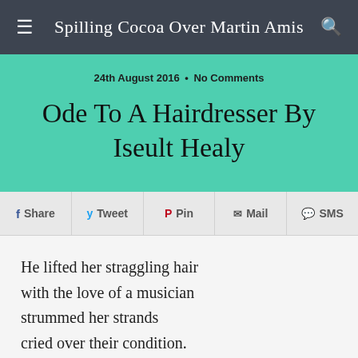Spilling Cocoa Over Martin Amis
24th August 2016 • No Comments
Ode To A Hairdresser By Iseult Healy
f Share  Tweet  Pin  Mail  SMS
He lifted her straggling hair
with the love of a musician
strummed her strands
cried over their condition.

He leaned her head back
so gently on basin's rim